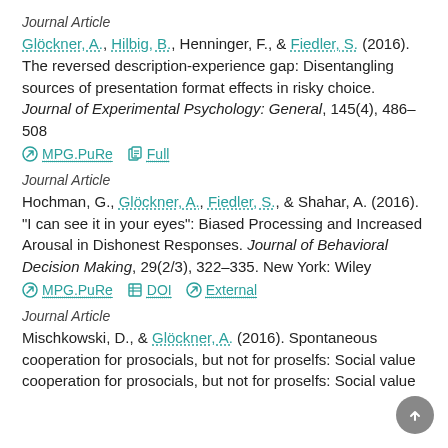Journal Article
Glöckner, A., Hilbig, B., Henninger, F., & Fiedler, S. (2016). The reversed description-experience gap: Disentangling sources of presentation format effects in risky choice. Journal of Experimental Psychology: General, 145(4), 486–508
MPG.PuRe  Full
Journal Article
Hochman, G., Glöckner, A., Fiedler, S., & Shahar, A. (2016). "I can see it in your eyes": Biased Processing and Increased Arousal in Dishonest Responses. Journal of Behavioral Decision Making, 29(2/3), 322–335. New York: Wiley
MPG.PuRe  DOI  External
Journal Article
Mischkowski, D., & Glöckner, A. (2016). Spontaneous cooperation for prosocials, but not for proselfs: Social value orientation moderates spontaneous cooperation behavior.